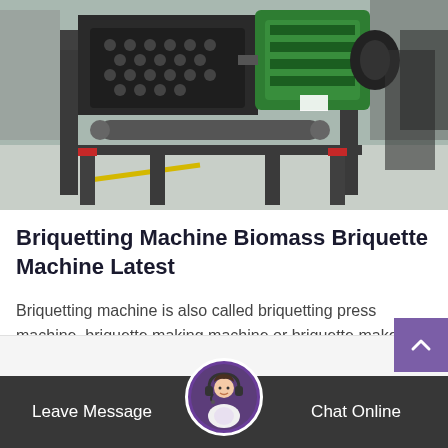[Figure (photo): Industrial briquetting machine photographed in a warehouse/factory setting. The machine is large, dark grey/black colored with a green motor/engine component on the right side. It has a honeycomb-patterned roller drum visible in the center and stands on a heavy steel frame with legs.]
Briquetting Machine Biomass Briquette Machine Latest
Briquetting machine is also called briquetting press machine, briquette making machine or briquette make…
Leave Message   Chat Online